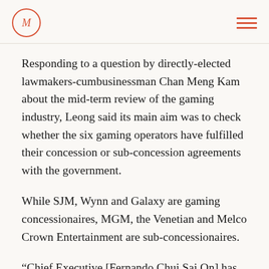M (logo)
Responding to a question by directly-elected lawmakers-cumbusinessman Chan Meng Kam about the mid-term review of the gaming industry, Leong said its main aim was to check whether the six gaming operators have fulfilled their concession or sub-concession agreements with the government.
While SJM, Wynn and Galaxy are gaming concessionaires, MGM, the Venetian and Melco Crown Entertainment are sub-concessionaires.
“Chief Executive [Fernando Chui Sai On] has already said that eight aspects need to be addressed by the mid-term review. Recently, the